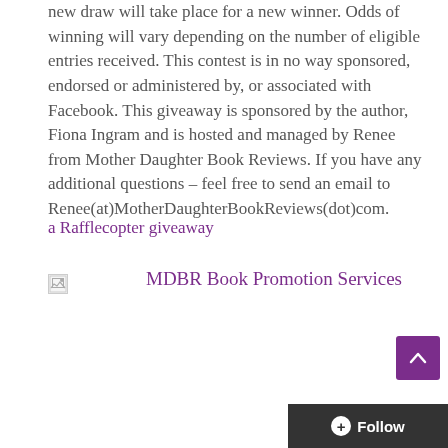new draw will take place for a new winner. Odds of winning will vary depending on the number of eligible entries received. This contest is in no way sponsored, endorsed or administered by, or associated with Facebook. This giveaway is sponsored by the author, Fiona Ingram and is hosted and managed by Renee from Mother Daughter Book Reviews. If you have any additional questions – feel free to send an email to Renee(at)MotherDaughterBookReviews(dot)com.
a Rafflecopter giveaway
[Figure (illustration): Broken image placeholder followed by linked text: MDBR Book Promotion Services in purple]